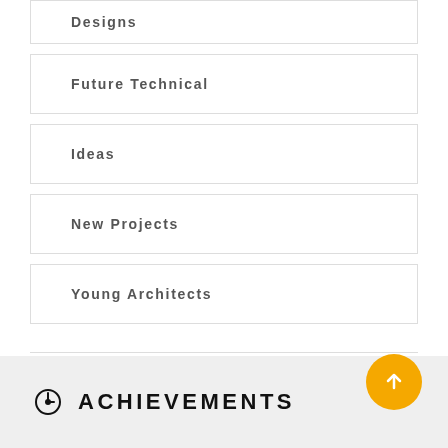Designs
Future Technical
Ideas
New Projects
Young Architects
ACHIEVEMENTS